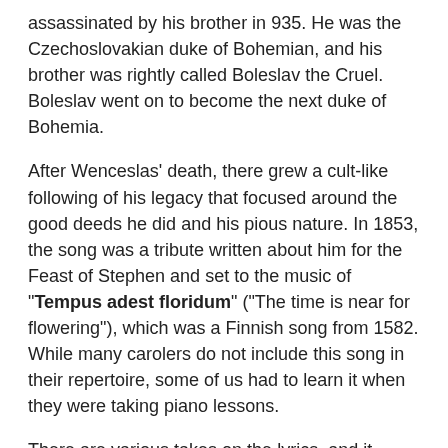assassinated by his brother in 935. He was the Czechoslovakian duke of Bohemian, and his brother was rightly called Boleslav the Cruel. Boleslav went on to become the next duke of Bohemia.
After Wenceslas' death, there grew a cult-like following of his legacy that focused around the good deeds he did and his pious nature. In 1853, the song was a tribute written about him for the Feast of Stephen and set to the music of "Tempus adest floridum" ("The time is near for flowering"), which was a Finnish song from 1582. While many carolers do not include this song in their repertoire, some of us had to learn it when they were taking piano lessons.
There are various takes on the lyrics, and it really depends upon the translation, but it was Elizabeth Poston, who in the Penguin Book of Christmas Carols, referred to it as the "product of an unnatural marriage between Victorian whimsy and the thirteenth-century dance carol". She goes on to detail how Neale's "ponderous moral doggerel" does not fit the light-hearted dance measure of the original tune, and that if performed in the correct manner "sounds ridiculous to...